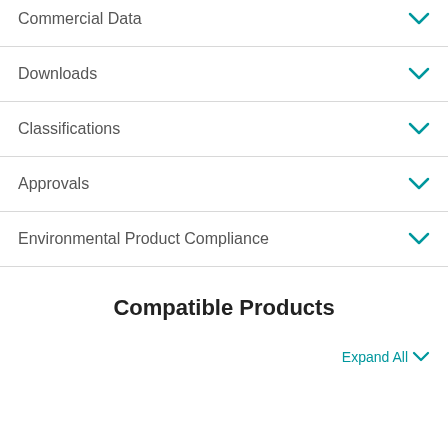Commercial Data
Downloads
Classifications
Approvals
Environmental Product Compliance
Compatible Products
Expand All